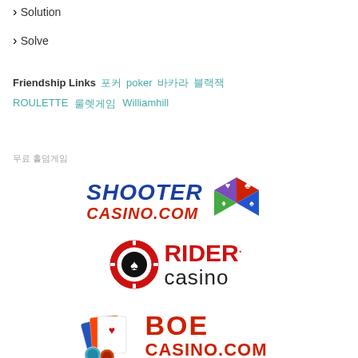> Solution
> Solve
Friendship Links  포커  poker  바카라  블랙잭  ROULETTE  룰렛게임  Williamhill
무료 홀덤게임
[Figure (logo): Shooter Casino.com logo with dice graphic]
[Figure (logo): Rider Casino logo with casino chip graphic]
[Figure (logo): BOE Casino.com logo with playing cards graphic]